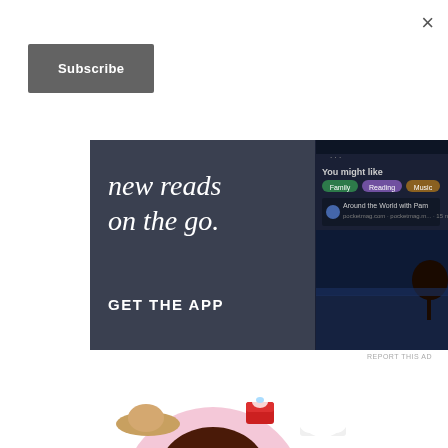×
Subscribe
[Figure (screenshot): Advertisement banner for a reading/podcast app showing text 'new reads on the go.' on dark background with phone mockup showing 'You might like' section with categories Family, Reading, Music and 'Around the World with Pam' podcast listing. Bottom left shows 'GET THE APP' call to action.]
REPORT THIS AD
[Figure (illustration): Cartoon illustration of a smiling brunette woman surrounded by lifestyle icons including a laptop, baby onesie, sun hat, ring box, chef hat, baby bottle, and microphone on a pink circular background.]